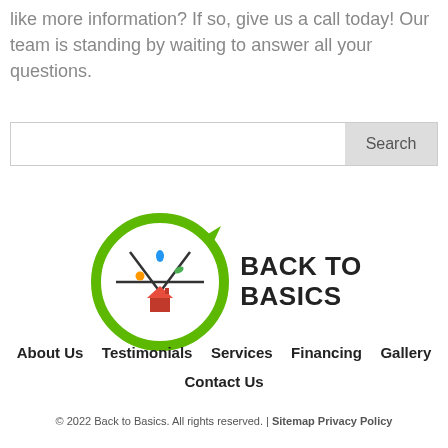like more information? If so, give us a call today! Our team is standing by waiting to answer all your questions.
[Figure (other): Search bar with text input field and Search button]
[Figure (logo): Back to Basics logo — circular green arrow with house and utility icons inside, bold text BACK TO BASICS to the right]
About Us   Testimonials   Services   Financing   Gallery   Contact Us
© 2022 Back to Basics. All rights reserved. | Sitemap Privacy Policy